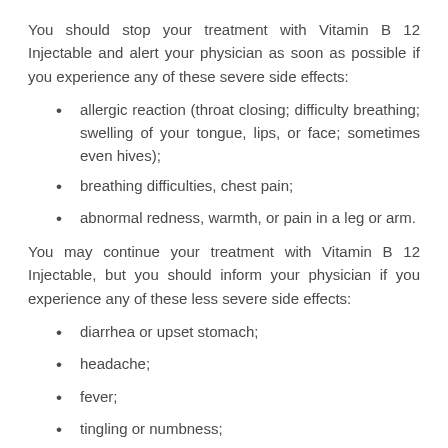You should stop your treatment with Vitamin B 12 Injectable and alert your physician as soon as possible if you experience any of these severe side effects:
allergic reaction (throat closing; difficulty breathing; swelling of your tongue, lips, or face; sometimes even hives);
breathing difficulties, chest pain;
abnormal redness, warmth, or pain in a leg or arm.
You may continue your treatment with Vitamin B 12 Injectable, but you should inform your physician if you experience any of these less severe side effects:
diarrhea or upset stomach;
headache;
fever;
tingling or numbness;
rash or itching;